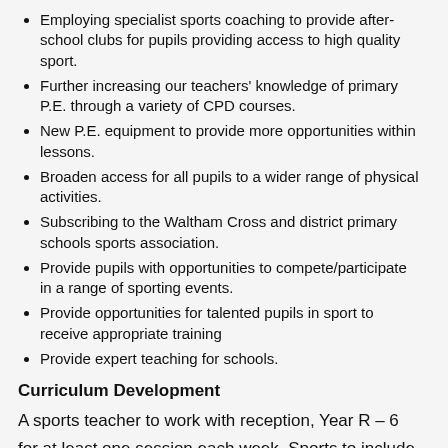Employing specialist sports coaching to provide after-school clubs for pupils providing access to high quality sport.
Further increasing our teachers' knowledge of primary P.E. through a variety of CPD courses.
New P.E. equipment to provide more opportunities within lessons.
Broaden access for all pupils to a wider range of physical activities.
Subscribing to the Waltham Cross and district primary schools sports association.
Provide pupils with opportunities to compete/participate in a range of sporting events.
Provide opportunities for talented pupils in sport to receive appropriate training
Provide expert teaching for schools.
Curriculum Development
A sports teacher to work with reception, Year R – 6 for at least one session each week. Sports to include football, tag